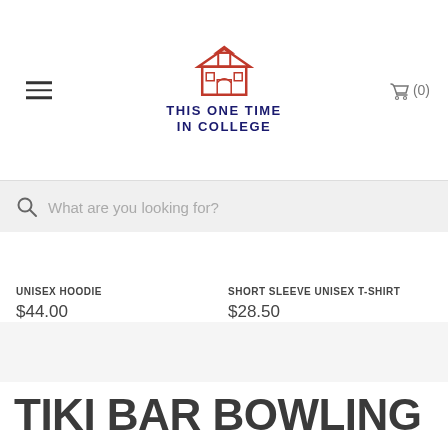This One Time In College
What are you looking for?
UNISEX HOODIE $44.00
SHORT SLEEVE UNISEX T-SHIRT $28.50
TIKI BAR BOWLING